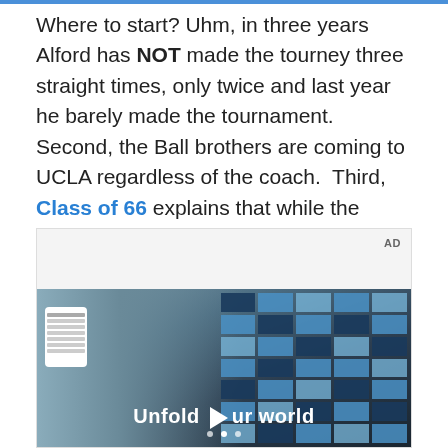Where to start? Uhm, in three years Alford has NOT made the tourney three straight times, only twice and last year he barely made the tournament.  Second, the Ball brothers are coming to UCLA regardless of the coach.  Third, Class of 66 explains that while the contract is an obstacle, it is not that big an obstacle.
[Figure (screenshot): An advertisement video frame showing a young man standing in front of a blue tile grid wall, with text overlay reading 'Unfold your world' with a play button icon, and navigation dots at the bottom.]